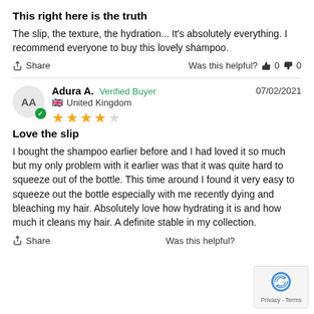This right here is the truth
The slip, the texture, the hydration... It's absolutely everything. I recommend everyone to buy this lovely shampoo.
Share   Was this helpful?  👍 0  👎 0
Adura A.  Verified Buyer   07/02/2021
🇬🇧 United Kingdom
★★★★☆
Love the slip
I bought the shampoo earlier before and I had loved it so much but my only problem with it earlier was that it was quite hard to squeeze out of the bottle. This time around I found it very easy to squeeze out the bottle especially with me recently dying and bleaching my hair. Absolutely love how hydrating it is and how much it cleans my hair. A definite stable in my collection.
Share   Was this helpful?